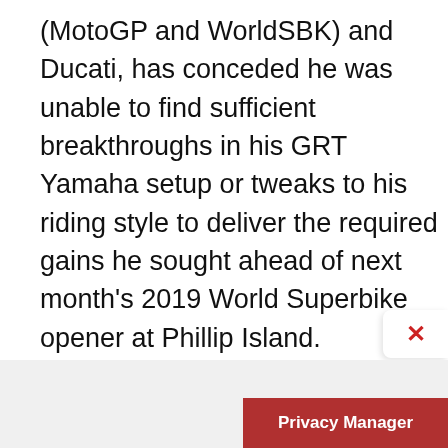(MotoGP and WorldSBK) and Ducati, has conceded he was unable to find sufficient breakthroughs in his GRT Yamaha setup or tweaks to his riding style to deliver the required gains he sought ahead of next month's 2019 World Superbike opener at Phillip Island.
“This was a very difficult test for me,” Melandri said. “I came here expecting a little bit more, but it looks like we’re